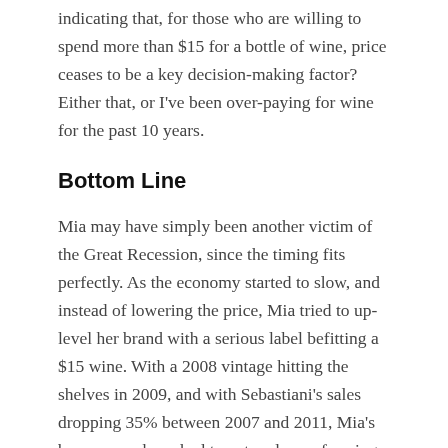indicating that, for those who are willing to spend more than $15 for a bottle of wine, price ceases to be a key decision-making factor? Either that, or I've been over-paying for wine for the past 10 years.
Bottom Line
Mia may have simply been another victim of the Great Recession, since the timing fits perfectly. As the economy started to slow, and instead of lowering the price, Mia tried to up-level her brand with a serious label befitting a $15 wine. With a 2008 vintage hitting the shelves in 2009, and with Sebastiani's sales dropping 35% between 2007 and 2011, Mia's bosses may have had to cut under-performing brands.
In any event, wasn't this a fun exercise!? Let me know what you think with a comment below.
I'd really love to see the sales numbers before and after the label